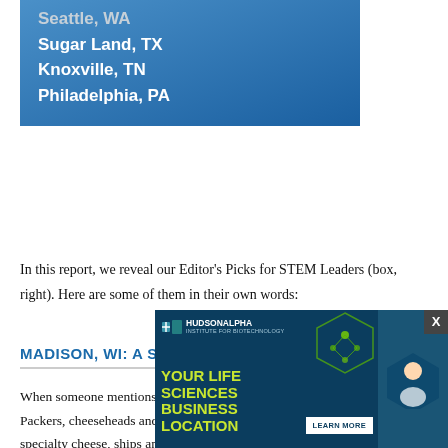Seattle, WA (partially visible at top)
Sugar Land, TX
Knoxville, TN
Philadelphia, PA
In this report, we reveal our Editor's Picks for STEM Leaders (box, right). Here are some of them in their own words:
MADISON, WI: A STEM CLUSTER POWERHOUSE
When someone mentions Wisconsin, the tendency is to think of the Packers, cheeseheads and the cool things that are made there like Harleys, specialty cheese, ships and combat trucks. The Madison Region has no problem with that because its agricultural and advanced manufacturing sectors have been important for decades the region has also developed strong STEM clusters a...
[Figure (infographic): HudsonAlpha Institute for Biotechnology advertisement: 'YOUR LIFE SCIENCES BUSINESS LOCATION' with Learn More button, featuring hexagonal imagery with scientist and green molecular graphics on dark blue background. Has an X close button.]